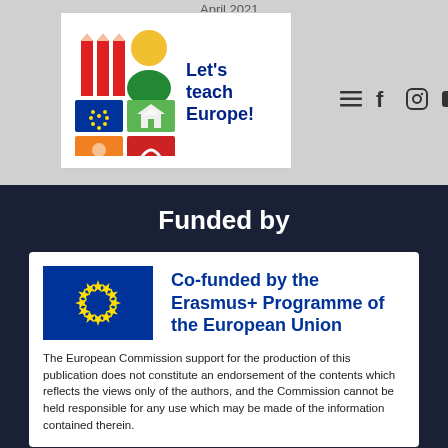April 2021
[Figure (logo): Let's teach Europe! logo with colorful pencils and EU-themed icons and a figure]
[Figure (other): Navigation icons: hamburger menu, Facebook, Instagram, YouTube]
Funded by
[Figure (logo): EU flag - blue background with circle of 12 yellow stars]
Co-funded by the Erasmus+ Programme of the European Union
The European Commission support for the production of this publication does not constitute an endorsement of the contents which reflects the views only of the authors, and the Commission cannot be held responsible for any use which may be made of the information contained therein.